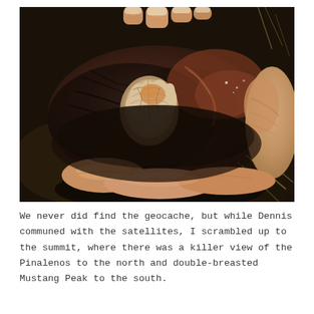[Figure (photo): A hand holding a dark rock with a fossil embedded in it — the fossil appears to be a small, cream-colored bone or shell fragment with ridged texture, set against the dark reddish-brown rock. The background shows dirt and dry vegetation.]
We never did find the geocache, but while Dennis communed with the satellites, I scrambled up to the summit, where there was a killer view of the Pinalenos to the north and double-breasted Mustang Peak to the south.